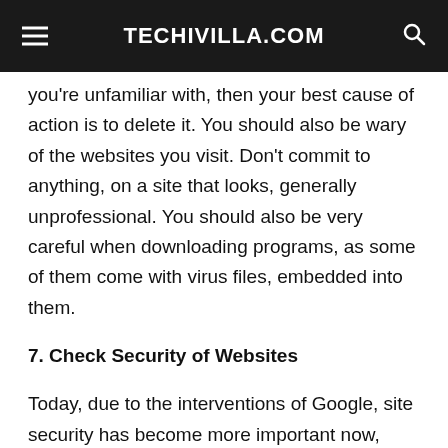TECHIVILLA.COM
you're unfamiliar with, then your best cause of action is to delete it. You should also be wary of the websites you visit. Don't commit to anything, on a site that looks, generally unprofessional. You should also be very careful when downloading programs, as some of them come with virus files, embedded into them.
7. Check Security of Websites
Today, due to the interventions of Google, site security has become more important now, than ever before. Now, you can look at the URL of a website, in any one of the top browsers and